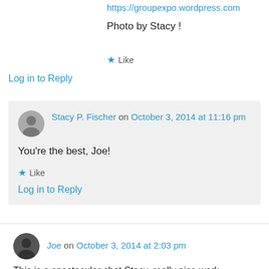https://groupexpo.wordpress.com
Photo by Stacy !
★ Like
Log in to Reply
Stacy P. Fischer on October 3, 2014 at 11:16 pm
You're the best, Joe!
★ Like
Log in to Reply
Joe on October 3, 2014 at 2:03 pm
This is a spectacular shot Stacy, really nice work